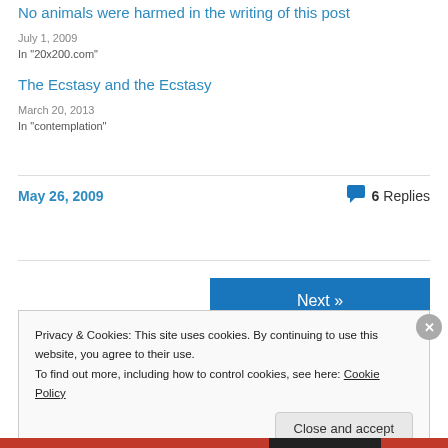No animals were harmed in the writing of this post
July 1, 2009
In "20x200.com"
The Ecstasy and the Ecstasy
March 20, 2013
In "contemplation"
May 26, 2009
6 Replies
Next »
Privacy & Cookies: This site uses cookies. By continuing to use this website, you agree to their use.
To find out more, including how to control cookies, see here: Cookie Policy
Close and accept